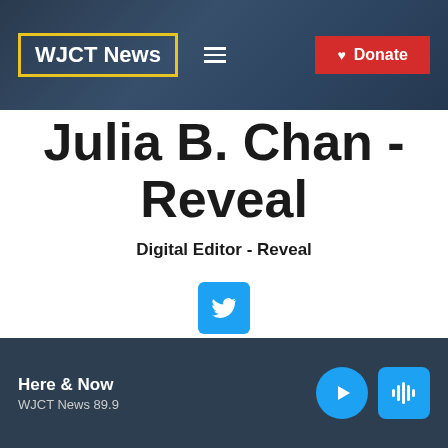WJCT News
Julia B. Chan - Reveal
Digital Editor - Reveal
[Figure (logo): Twitter bird icon button, cyan/blue square]
Here & Now WJCT News 89.9